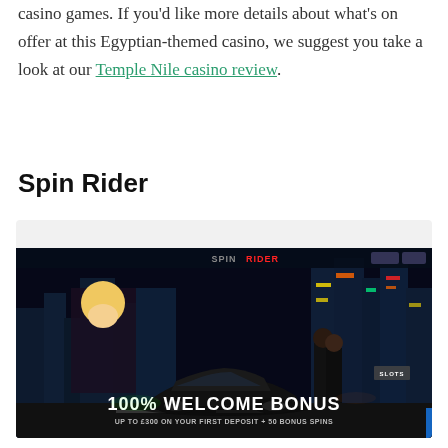casino games. If you'd like more details about what's on offer at this Egyptian-themed casino, we suggest you take a look at our Temple Nile casino review.
Spin Rider
[Figure (screenshot): Screenshot of Spin Rider casino website showing a dark night-city themed homepage with two people standing next to a black sports car, and a promotional banner reading '100% WELCOME BONUS UP TO £300 ON YOUR FIRST DEPOSIT + 50 BONUS SPINS']